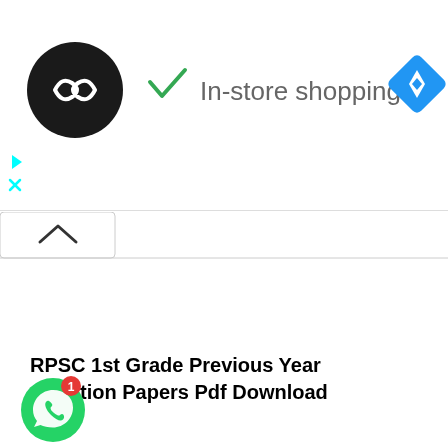[Figure (screenshot): Ad banner showing a black circular logo with infinity-like symbol, a green checkmark with text 'In-store shopping', and a blue diamond navigation icon on the right. Below are small cyan play and close icons.]
[Figure (screenshot): A tab/panel with an up-arrow caret (^) indicating a collapsible section.]
RPSC 1st Grade Previous Year Question Papers Pdf Download
[Figure (logo): WhatsApp green circular icon with phone/chat symbol and a red notification badge showing '1'.]